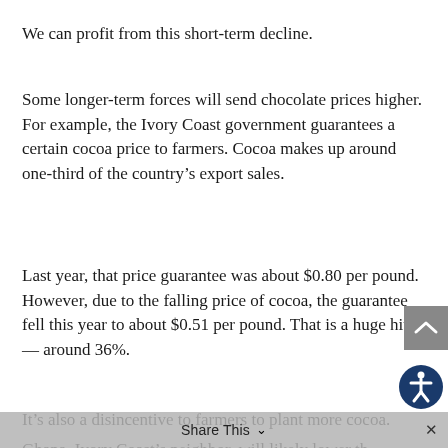We can profit from this short-term decline.
Some longer-term forces will send chocolate prices higher. For example, the Ivory Coast government guarantees a certain cocoa price to farmers. Cocoa makes up around one-third of the country’s export sales.
Last year, that price guarantee was about $0.80 per pound. However, due to the falling price of cocoa, the guarantee fell this year to about $0.51 per pound. That is a huge hit — around 36%.
It’s also a disincentive to farmers to plant more cocoa.
Ghana, Ivory Coast’s neighbor, will likely lower the cocoa price guarantee later this year. That will further